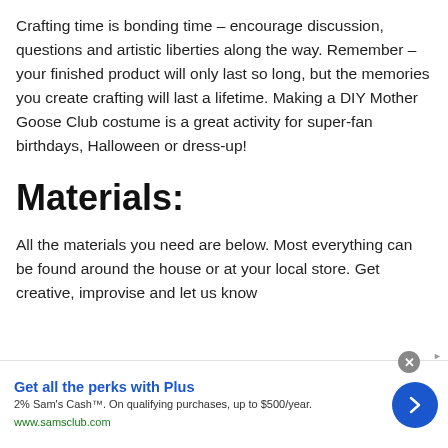Crafting time is bonding time – encourage discussion, questions and artistic liberties along the way. Remember – your finished product will only last so long, but the memories you create crafting will last a lifetime. Making a DIY Mother Goose Club costume is a great activity for super-fan birthdays, Halloween or dress-up!
Materials:
All the materials you need are below. Most everything can be found around the house or at your local store. Get creative, improvise and let us know
Get all the perks with Plus
2% Sam's Cash™. On qualifying purchases, up to $500/year.
www.samsclub.com